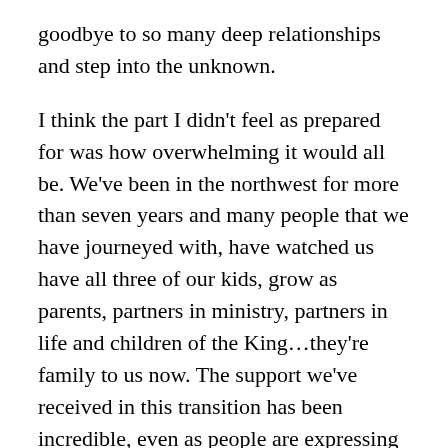goodbye to so many deep relationships and step into the unknown.
I think the part I didn't feel as prepared for was how overwhelming it would all be.  We've been in the northwest for more than seven years and many people that we have journeyed with, have watched us have all three of our kids, grow as parents, partners in ministry, partners in life and children of the King…they're family to us now.  The support we've received in this transition has been incredible, even as people are expressing sadness and disappointment, they are sharing deep care and support for what God has planned for the Kingdom through our obedience to His call on our lives.
P...